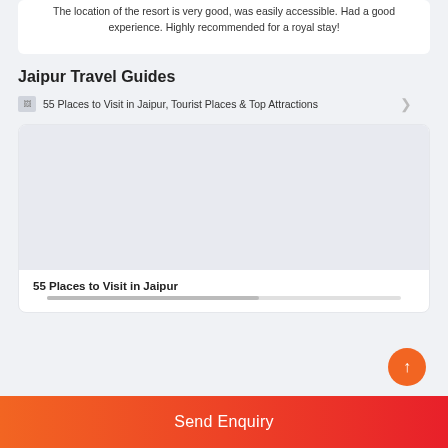The location of the resort is very good, was easily accessible. Had a good experience. Highly recommended for a royal stay!
Jaipur Travel Guides
55 Places to Visit in Jaipur, Tourist Places & Top Attractions
[Figure (photo): Large image placeholder for Jaipur travel guide card]
55 Places to Visit in Jaipur
Send Enquiry